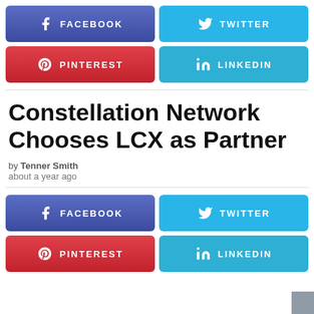[Figure (infographic): Social share buttons row 1: Facebook (blue-purple) and Twitter (cyan) buttons]
[Figure (infographic): Social share buttons row 2: Pinterest (red) and LinkedIn (cyan) buttons]
Constellation Network Chooses LCX as Partner
by Tenner Smith
about a year ago
[Figure (infographic): Bottom social share buttons: Facebook (blue-purple), Twitter (cyan), Pinterest (red), LinkedIn (cyan)]